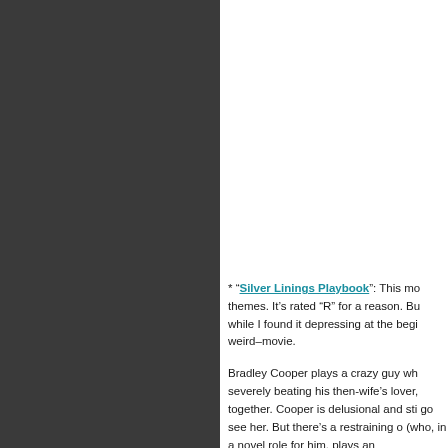[Figure (photo): Dark gray/charcoal colored panel occupying the left ~49% of the page]
* “Silver Linings Playbook”: This mo themes. It’s rated “R” for a reason. Bu while I found it depressing at the begi weird–movie.

Bradley Cooper plays a crazy guy wh severely beating his then-wife’s lover, together. Cooper is delusional and sti go see her. But there’s a restraining o (who, in a novel role for him, plays an